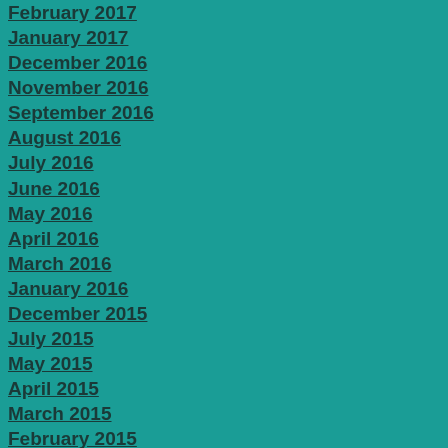February 2017
January 2017
December 2016
November 2016
September 2016
August 2016
July 2016
June 2016
May 2016
April 2016
March 2016
January 2016
December 2015
July 2015
May 2015
April 2015
March 2015
February 2015
January 2015
December 2014
November 2014
October 2014